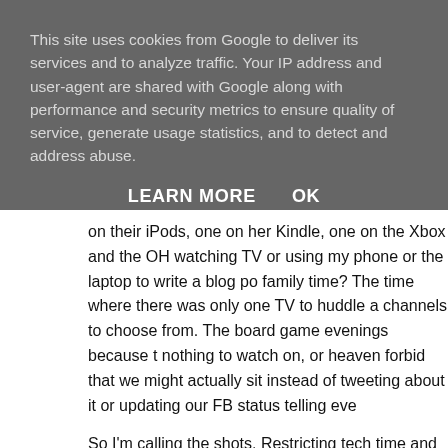This site uses cookies from Google to deliver its services and to analyze traffic. Your IP address and user-agent are shared with Google along with performance and security metrics to ensure quality of service, generate usage statistics, and to detect and address abuse.
LEARN MORE    OK
on their iPods, one on her Kindle, one on the Xbox and the OH watching TV or using my phone or the laptop to write a blog po family time? The time where there was only one TV to huddle a channels to choose from. The board game evenings because t nothing to watch on, or heaven forbid that we might actually sit instead of tweeting about it or updating our FB status telling eve
So I'm calling the shots. Restricting tech time and more family t until it's too late and you're all sat in different rooms of the hous or creating Minecraft worlds, flying imaginary space craft throug of grown men who I'm sure think it's real whilst you talk over mi never met but you have more conversation with in an evening t else in your own home.